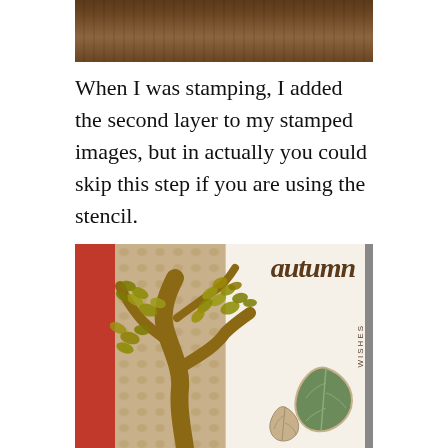[Figure (photo): Close-up photo of a wooden surface with dark brown wood grain texture]
When I was stamping, I added the second layer to my stamped images, but in actually you could skip this step if you are using the stencil.
[Figure (photo): Close-up photo of a handmade autumn-themed card featuring a tree die cut with gold glitter leaves, autumn wishes lettering, and decorative leaf elements on a tan patterned background with red and white accents]